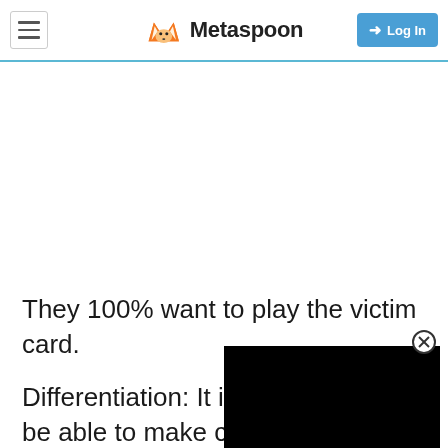Metaspoon — Log In
They 100% want to play the victim card.
Differentiation: It is [obscured] be able to make changes, but can you choose an additional coordinating
[Figure (screenshot): Black video player overlay in the lower right portion of the page]